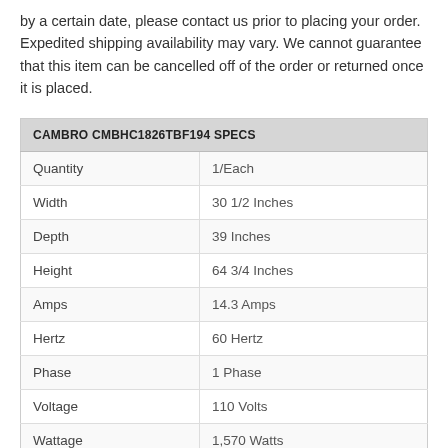by a certain date, please contact us prior to placing your order. Expedited shipping availability may vary. We cannot guarantee that this item can be cancelled off of the order or returned once it is placed.
| CAMBRO CMBHC1826TBF194 SPECS |  |
| --- | --- |
| Quantity | 1/Each |
| Width | 30 1/2 Inches |
| Depth | 39 Inches |
| Height | 64 3/4 Inches |
| Amps | 14.3 Amps |
| Hertz | 60 Hertz |
| Phase | 1 Phase |
| Voltage | 110 Volts |
| Wattage | 1,570 Watts |
| Color | Brown |
| Compartment Type | Hot / Cold |